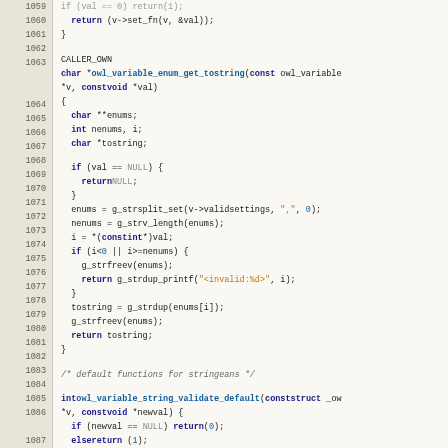[Figure (screenshot): Source code listing in C showing lines 1059-1088, including functions owl_variable_enum_get_tostring and owl_variable_string_validate_default with syntax highlighting]